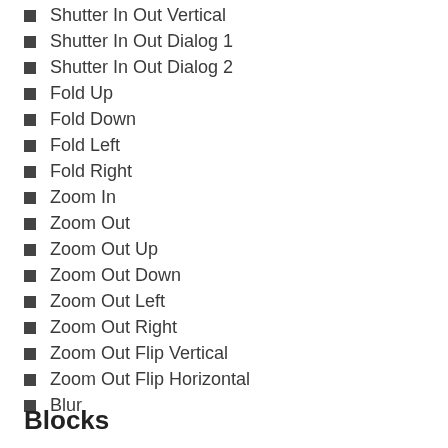Shutter In Out Vertical
Shutter In Out Dialog 1
Shutter In Out Dialog 2
Fold Up
Fold Down
Fold Left
Fold Right
Zoom In
Zoom Out
Zoom Out Up
Zoom Out Down
Zoom Out Left
Zoom Out Right
Zoom Out Flip Vertical
Zoom Out Flip Horizontal
Blur
Blocks